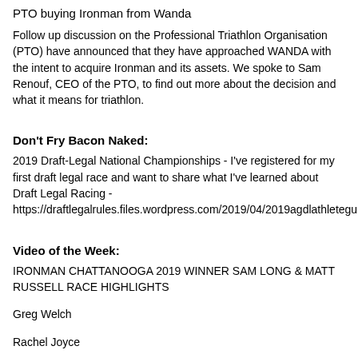PTO buying Ironman from Wanda
Follow up discussion on the Professional Triathlon Organisation (PTO) have announced that they have approached WANDA with the intent to acquire Ironman and its assets. We spoke to Sam Renouf, CEO of the PTO, to find out more about the decision and what it means for triathlon.
Don't Fry Bacon Naked:
2019 Draft-Legal National Championships - I've registered for my first draft legal race and want to share what I've learned about Draft Legal Racing - https://draftlegalrules.files.wordpress.com/2019/04/2019agdlathleteguidedu.pdf
Video of the Week:
IRONMAN CHATTANOOGA 2019 WINNER SAM LONG & MATT RUSSELL RACE HIGHLIGHTS
Greg Welch
Rachel Joyce
David Downey
Loves Chattanooga